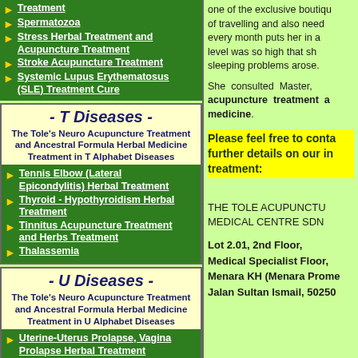Treatment
Spermatozoa
Stress Herbal Treatment and Acupuncture Treatment
Stroke Acupuncture Treatment
Systemic Lupus Erythematosus (SLE) Treatment Cure
- T Diseases -
The Tole's Neuro Acupuncture Treatment and Ancestral Formula Herbal Medicine Treatment in T Alphabet Diseases
Tennis Elbow (Lateral Epicondylitis) Herbal Treatment
Thyroid - Hypothyroidism Herbal Treatment
Tinnitus Acupuncture Treatment and Herbs Treatment
Thalassemia
- U Diseases -
The Tole's Neuro Acupuncture Treatment and Ancestral Formula Herbal Medicine Treatment in U Alphabet Diseases
Uterine-Uterus Prolapse, Vagina Prolapse Herbal Treatment
Urinary Incontinence Herbs
one of the exclusive boutique of travelling and also need every month puts her in a level was so high that sleeping problems arose.
She consulted Master, acupuncture treatment and medicine.
Please feel free to contact further details on our in treatment:
THE TOLE ACUPUNCTURE MEDICAL CENTRE SDN
Lot 2.01, 2nd Floor, Medical Specialist Floor, Menara KH (Menara Promenade), Jalan Sultan Ismail, 50250